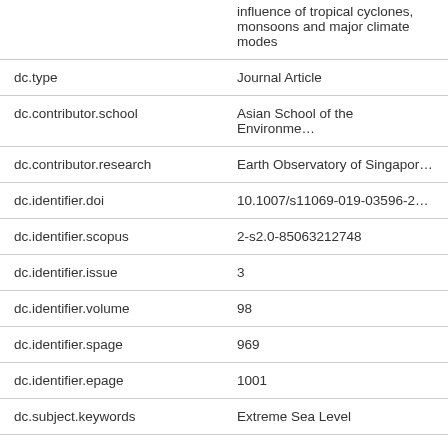| Field | Value |
| --- | --- |
|  | influence of tropical cyclones, monsoons and major climate modes |
| dc.type | Journal Article |
| dc.contributor.school | Asian School of the Environment |
| dc.contributor.research | Earth Observatory of Singapore |
| dc.identifier.doi | 10.1007/s11069-019-03596-2 |
| dc.identifier.scopus | 2-s2.0-85063212748 |
| dc.identifier.issue | 3 |
| dc.identifier.volume | 98 |
| dc.identifier.spage | 969 |
| dc.identifier.epage | 1001 |
| dc.subject.keywords | Extreme Sea Level |